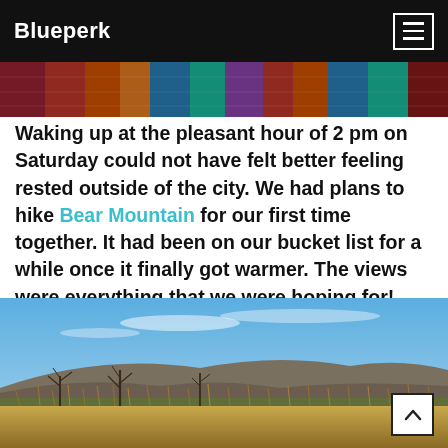Blueperk
[Figure (photo): Top portion of a colorful patterned rug or textile visible at top of page]
Waking up at the pleasant hour of 2 pm on Saturday could not have felt better feeling rested outside of the city. We had plans to hike Bear Mountain for our first time together. It had been on our bucket list for a while once it finally got warmer. The views were everything that we were hoping for!
[Figure (photo): Landscape photograph of Bear Mountain area showing blue sky, rolling hills, bare trees, and dry golden grass in the foreground]